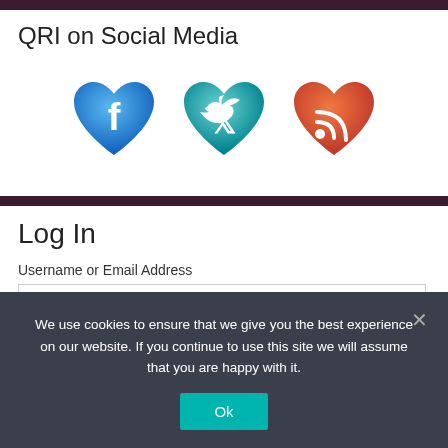QRI on Social Media
[Figure (illustration): Three heart-shaped social media icons: Facebook (blue heart with 'f'), Twitter (teal heart with bird), RSS (orange-red heart with RSS signal icon)]
Log In
Username or Email Address
We use cookies to ensure that we give you the best experience on our website. If you continue to use this site we will assume that you are happy with it.
Ok